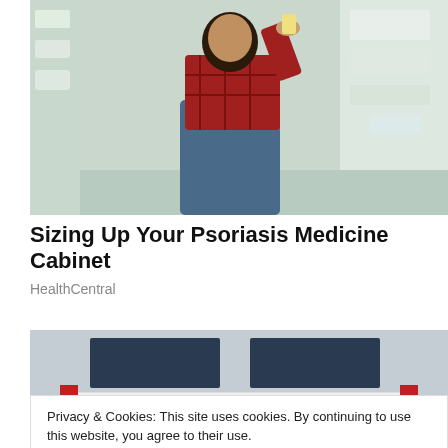[Figure (photo): Woman in red plaid shirt crouching and looking at products in a store aisle (pharmacy/grocery), holding a product up to examine it.]
Sizing Up Your Psoriasis Medicine Cabinet
HealthCentral
[Figure (photo): Exterior of a Social Security Administration office building with a large sign reading 'SOCIAL SECURITY ADMINISTRATION' in bold black letters on a white background, flanked by red pillars.]
Privacy & Cookies: This site uses cookies. By continuing to use this website, you agree to their use.
To find out more, including how to control cookies, see here: Cookie Policy
[Figure (photo): Bottom strip of a third image, partially visible, appears to show a colorful window or structure.]